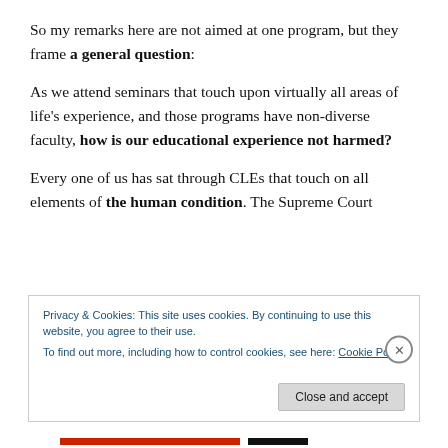So my remarks here are not aimed at one program, but they frame a general question:
As we attend seminars that touch upon virtually all areas of life's experience, and those programs have non-diverse faculty, how is our educational experience not harmed?
Every one of us has sat through CLEs that touch on all elements of the human condition. The Supreme Court
Privacy & Cookies: This site uses cookies. By continuing to use this website, you agree to their use.
To find out more, including how to control cookies, see here: Cookie Policy